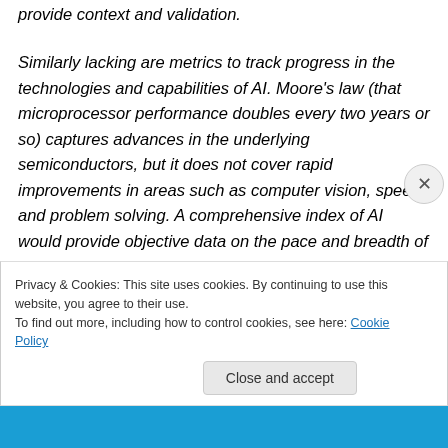provide context and validation.
Similarly lacking are metrics to track progress in the technologies and capabilities of AI. Moore’s law (that microprocessor performance doubles every two years or so) captures advances in the underlying semiconductors, but it does not cover rapid improvements in areas such as computer vision, speech and problem solving. A comprehensive index of AI would provide objective data on the pace and breadth of developments. Mapping such an index to a taxonomy of skills and tasks in various occupations
Privacy & Cookies: This site uses cookies. By continuing to use this website, you agree to their use.
To find out more, including how to control cookies, see here: Cookie Policy
Close and accept